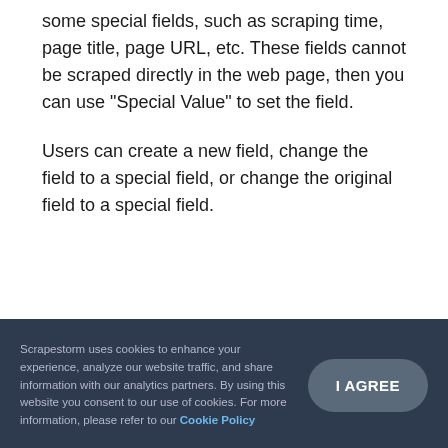some special fields, such as scraping time, page title, page URL, etc. These fields cannot be scraped directly in the web page, then you can use “Special Value” to set the field.
Users can create a new field, change the field to a special field, or change the original field to a special field.
Scrapestorm uses cookies to enhance your experience, analyze our website traffic, and share information with our analytics partners. By using this website you consent to our use of cookies. For more information, please refer to our Cookie Policy